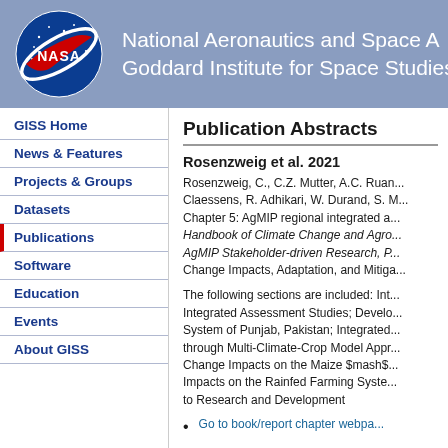National Aeronautics and Space A... Goddard Institute for Space Studies
Publication Abstracts
Rosenzweig et al. 2021
Rosenzweig, C., C.Z. Mutter, A.C. Ruane, L. Claessens, R. Adhikari, W. Durand, S. M... Chapter 5: AgMIP regional integrated a... Handbook of Climate Change and Agro... AgMIP Stakeholder-driven Research, P... Change Impacts, Adaptation, and Mitiga...
The following sections are included: Int... Integrated Assessment Studies; Develo... System of Punjab, Pakistan; Integrated... through Multi-Climate-Crop Model Appr... Change Impacts on the Maize $mash$... Impacts on the Rainfed Farming Syste... to Research and Development
Go to book/report chapter webpa...